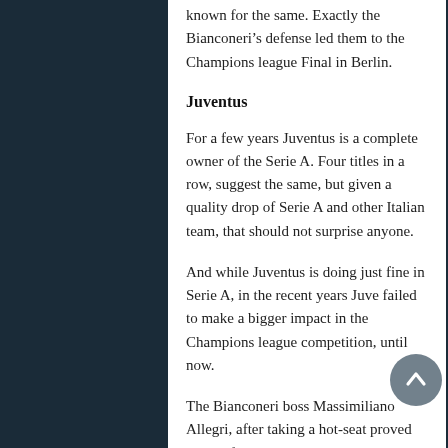known for the same. Exactly the Bianconeri's defense led them to the Champions league Final in Berlin.
Juventus
For a few years Juventus is a complete owner of the Serie A. Four titles in a row, suggest the same, but given a quality drop of Serie A and other Italian team, that should not surprise anyone.
And while Juventus is doing just fine in Serie A, in the recent years Juve failed to make a bigger impact in the Champions league competition, until now.
The Bianconeri boss Massimiliano Allegri, after taking a hot-seat proved him self by